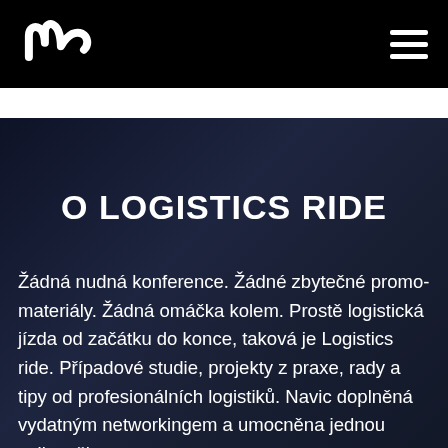Logistics Ride logo and navigation menu
O LOGISTICS RIDE
Žádná nudná konference. Žádné zbytečné promo-materiály. Žádná omáčka kolem. Prostě logistická jízda od začátku do konce, taková je Logistics ride. Případové studie, projekty z praxe, rady a tipy od profesionálních logistiků. Navic doplněná vydatným networkingem a umocněna jednou velkou živou